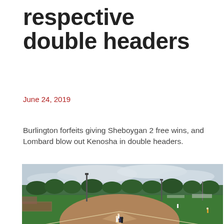respective double headers
June 24, 2019
Burlington forfeits giving Sheboygan 2 free wins, and Lombard blow out Kenosha in double headers.
[Figure (photo): Baseball game at a field with players near home plate, dugout visible on left, light poles, green outfield, and overcast sky]